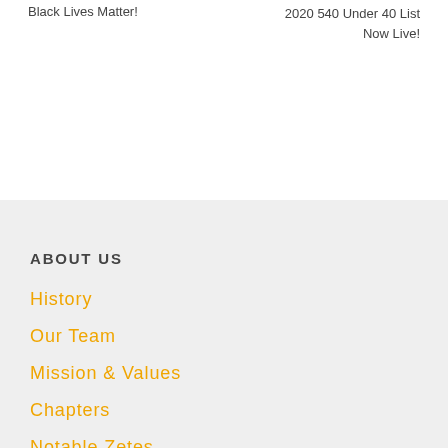Black Lives Matter!
2020 540 Under 40 List Now Live!
ABOUT US
History
Our Team
Mission & Values
Chapters
Notable Zetes